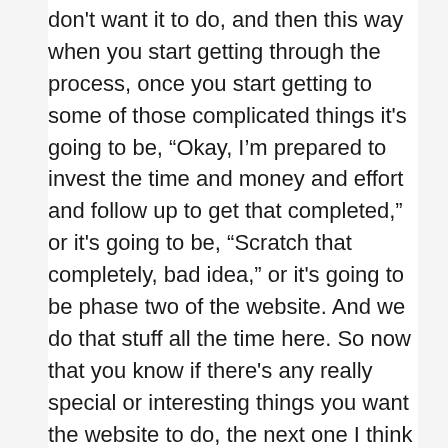don't want it to do, and then this way when you start getting through the process, once you start getting to some of those complicated things it's going to be, “Okay, I’m prepared to invest the time and money and effort and follow up to get that completed,” or it's going to be, “Scratch that completely, bad idea,” or it's going to be phase two of the website. And we do that stuff all the time here. So now that you know if there's any really special or interesting things you want the website to do, the next one I think is a little more fun and interesting.
Mark Stephenson:
I was just going to say, let’s get to the fun part.